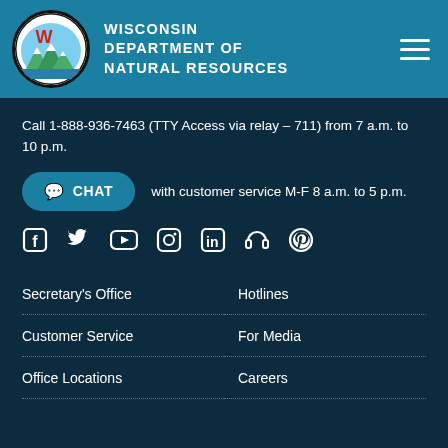Wisconsin Department of Natural Resources
Call 1-888-936-7463 (TTY Access via relay – 711) from 7 a.m. to 10 p.m.
CHAT with customer service M-F 8 a.m. to 5 p.m.
[Figure (infographic): Social media icons: Facebook, Twitter, YouTube, Instagram, LinkedIn, Podcast/Headphones, Pinterest]
Secretary's Office
Hotlines
Customer Service
For Media
Office Locations
Careers